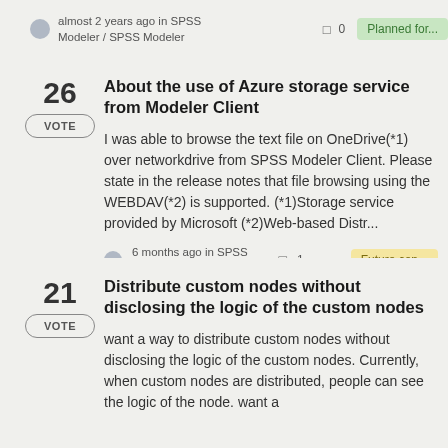almost 2 years ago in SPSS Modeler / SPSS Modeler  0  Planned for...
26 VOTE  About the use of Azure storage service from Modeler Client
I was able to browse the text file on OneDrive(*1) over networkdrive from SPSS Modeler Client. Please state in the release notes that file browsing using the WEBDAV(*2) is supported. (*1)Storage service provided by Microsoft (*2)Web-based Distr...
6 months ago in SPSS Modeler / SPSS Modeler  1  Future con...
21 VOTE  Distribute custom nodes without disclosing the logic of the custom nodes
want a way to distribute custom nodes without disclosing the logic of the custom nodes. Currently, when custom nodes are distributed, people can see the logic of the node. want a